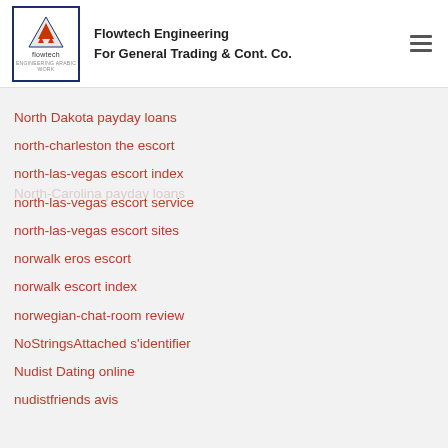Flowtech Engineering For General Trading & Cont. Co.
norfolk escort radar
escort...
North-Carolina payday loans
North Dakota payday loans
north-charleston the escort
north-las-vegas escort index
north-las-vegas escort service
north-las-vegas escort sites
norwalk eros escort
norwalk escort index
norwegian-chat-room review
NoStringsAttached s'identifier
Nudist Dating online
nudistfriends avis